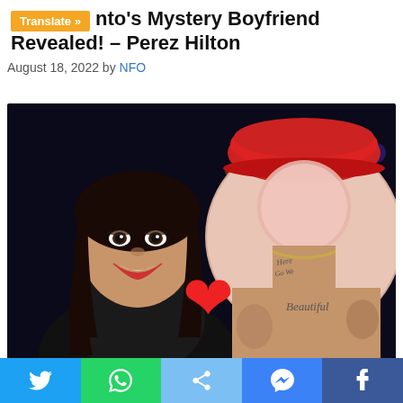nto's Mystery Boyfriend Revealed! – Perez Hilton
August 18, 2022 by NFO
[Figure (photo): A smiling woman with long dark hair and black outfit on a TV show set with city lights in background, next to an inset circle of a person wearing a red hat with tattoos on neck and chest, with a red heart emoji overlay in the center.]
Twitter | WhatsApp | Share | Messenger | Facebook